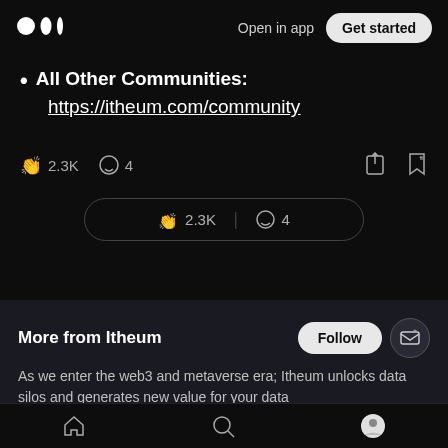Open in app | Get started
All Other Communities: https://itheum.com/community
[Figure (infographic): Interaction bar with clap icon 2.3K and comment icon 4, plus share and bookmark icons on the right]
[Figure (infographic): Pill-shaped interaction bar with clap 2.3K and comment 4]
More from Itheum
As we enter the web3 and metaverse era; Itheum unlocks data silos and generates new value for your data